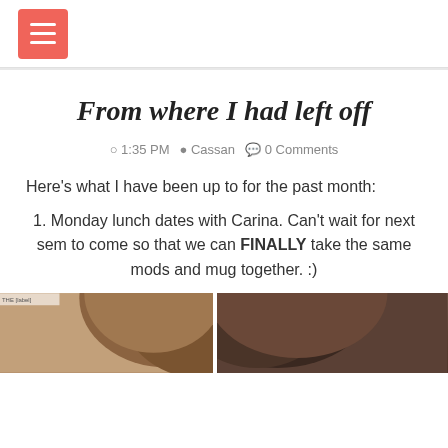≡ (menu button)
From where I had left off
⊙ 1:35 PM  ♦ Cassan  ✉ 0 Comments
Here's what I have been up to for the past month:
1. Monday lunch dates with Carina. Can't wait for next sem to come so that we can FINALLY take the same mods and mug together. :)
[Figure (photo): Two people with long dark hair shown from behind/side, possibly at a lunch date.]